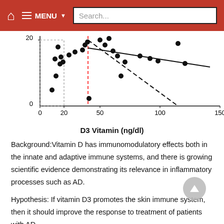🏠  ☰ MENU ▼  Search...
[Figure (continuous-plot): Scatter plot with two regression lines (solid and dashed) showing relationship between D3 Vitamin (ng/dl) on x-axis (0 to 150) and a y-axis variable (0 to 20+). A dotted rectangle region is shown for low x values (0-20). A vertical red dashed line is at approximately x=40. Data points scattered throughout.]
D3 Vitamin (ng/dl)
Background:Vitamin D has immunomodulatory effects both in the innate and adaptive immune systems, and there is growing scientific evidence demonstrating its relevance in inflammatory processes such as AD.
Hypothesis: If vitamin D3 promotes the skin immune system, then it should improve the response to treatment of patients with AD.
Methods
A randomized, double-blind placebo-controlled clinical trial was